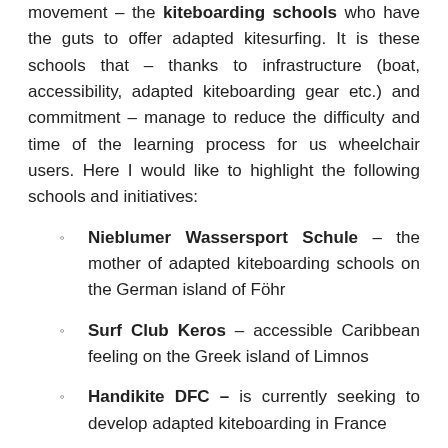movement – the kiteboarding schools who have the guts to offer adapted kitesurfing. It is these schools that – thanks to infrastructure (boat, accessibility, adapted kiteboarding gear etc.) and commitment – manage to reduce the difficulty and time of the learning process for us wheelchair users. Here I would like to highlight the following schools and initiatives:
Nieblumer Wassersport Schule – the mother of adapted kiteboarding schools on the German island of Föhr
Surf Club Keros – accessible Caribbean feeling on the Greek island of Limnos
Handikite DFC – is currently seeking to develop adapted kiteboarding in France